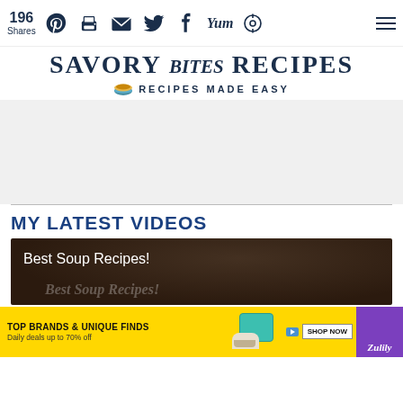196 Shares — social share bar with Pinterest, Print, Email, Twitter, Facebook, Yummly, and follow icons
SAVORY bites RECIPES — RECIPES MADE EASY
[Figure (other): Grey advertisement placeholder area]
MY LATEST VIDEOS
[Figure (screenshot): Video thumbnail with dark brown background showing 'Best Soup Recipes!' text and ghost watermark]
[Figure (other): Advertisement banner: TOP BRANDS & UNIQUE FINDS — Daily deals up to 70% off — Shop Now — Zulily]